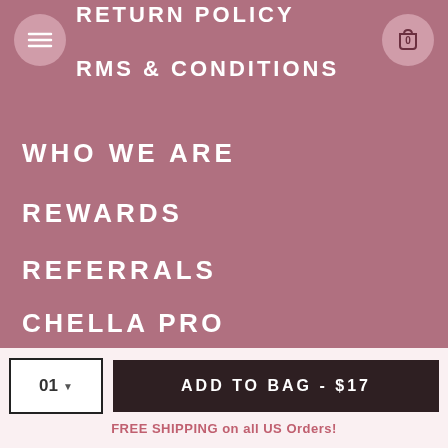RETURN POLICY
TERMS & CONDITIONS
WHO WE ARE
REWARDS
REFERRALS
CHELLA PRO
BECOME AN AMBASSADOR
BY YOUR SIDE "BLOG"
01  ADD TO BAG - $17
FREE SHIPPING on all US Orders!